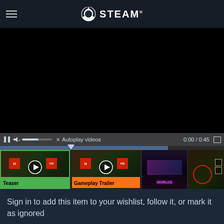STEAM
[Figure (screenshot): Black video player area showing paused video]
0:00 / 0:45
[Figure (screenshot): Video thumbnails row: Teaser, Gameplay Trailer, and two gameplay screenshots]
Sign in to add this item to your wishlist, follow it, or mark it as ignored
[Figure (screenshot): Two action buttons: share/upload and flag/bookmark]